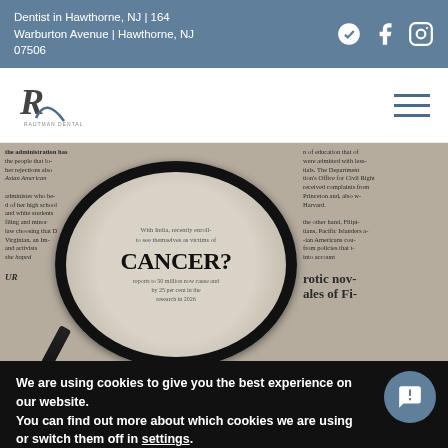Dentist in Hawthorne, NJ | 164 Warburton Avenue | Hawthorne, NJ 07506
[Figure (logo): Rautman Dental logo with stylized R]
[Figure (photo): Photo of a magnifying glass over a newspaper, enlarging the word CANCER? in bold serif typeface]
We are using cookies to give you the best experience on our website.
You can find out more about which cookies we are using or switch them off in settings.
Accept